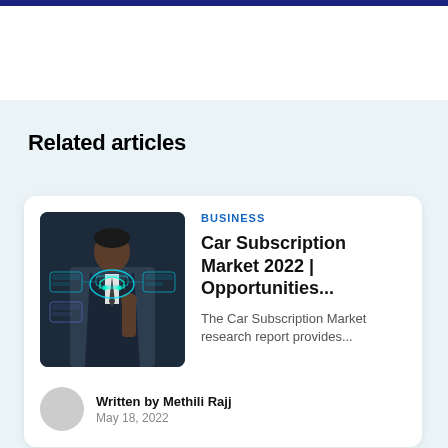Related articles
[Figure (photo): Person in a suit pointing at a glowing digital car icon interface with holographic vehicle displays]
BUSINESS
Car Subscription Market 2022 | Opportunities...
The Car Subscription Market research report provides...
Written by Methili Rajj
May 18, 2022